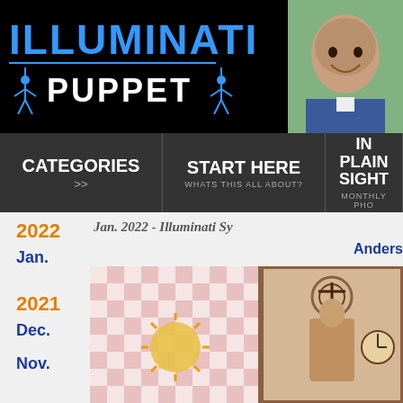[Figure (logo): Illuminati Puppet website logo with blue text on black background, showing puppet figures in blue silhouette]
[Figure (photo): Headshot photo of a bald smiling man in a suit against an outdoor background]
CATEGORIES >> | START HERE WHATS THIS ALL ABOUT? | IN PLAIN SIGHT MONTHLY PHO
Jan. 2022 - Illuminati Sy
2022
Jan.
Anders
2021
Dec.
Nov.
[Figure (photo): Image showing decorative folk art or religious puppet figures with a checkered pink and white background, featuring a sun motif and cross/religious symbols]